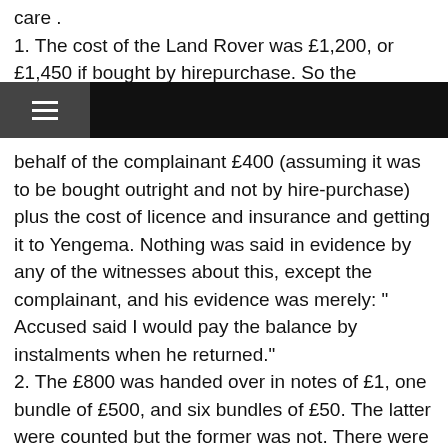care .
1. The cost of the Land Rover was £1,200, or £1,450 if bought by hirepurchase. So the
behalf of the complainant £400 (assuming it was to be bought outright and not by hire-purchase) plus the cost of licence and insurance and getting it to Yengema. Nothing was said in evidence by any of the witnesses about this, except the complainant, and his evidence was merely: " Accused said I would pay the balance by instalments when he returned."
2. The £800 was handed over in notes of £1, one bundle of £500, and six bundles of £50. The latter were counted but the former was not. There were witnesses who alleged that they were